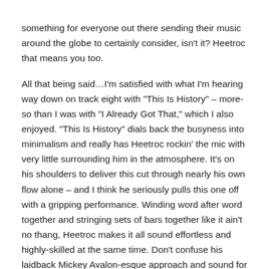something for everyone out there sending their music around the globe to certainly consider, isn't it?  Heetroc that means you too.
All that being said…I'm satisfied with what I'm hearing way down on track eight with "This Is History" – more-so than I was with "I Already Got That," which I also enjoyed.  "This Is History" dials back the busyness into minimalism and really has Heetroc rockin' the mic with very little surrounding him in the atmosphere.  It's on his shoulders to deliver this cut through nearly his own flow alone – and I think he seriously pulls this one off with a gripping performance.  Winding word after word together and stringing sets of bars together like it ain't no thang, Heetroc makes it all sound effortless and highly-skilled at the same time.  Don't confuse his laidback Mickey Avalon-esque approach and sound for anything less than hungry and focused – it might sound easygoing in its tone but he's keeping it seriously lyrically sharp on "This Is History" and impressively finding a way to insert what sounds like the entire